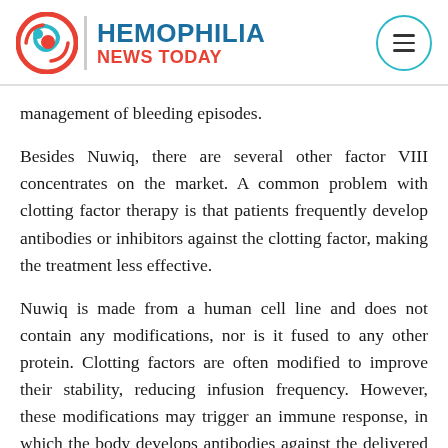[Figure (logo): Hemophilia News Today logo with red swirling icon, vertical divider, blue and red site name text]
management of bleeding episodes.
Besides Nuwiq, there are several other factor VIII concentrates on the market. A common problem with clotting factor therapy is that patients frequently develop antibodies or inhibitors against the clotting factor, making the treatment less effective.
Nuwiq is made from a human cell line and does not contain any modifications, nor is it fused to any other protein. Clotting factors are often modified to improve their stability, reducing infusion frequency. However, these modifications may trigger an immune response, in which the body develops antibodies against the delivered clotting factors.
Nuwiq also is free from any additives of human or